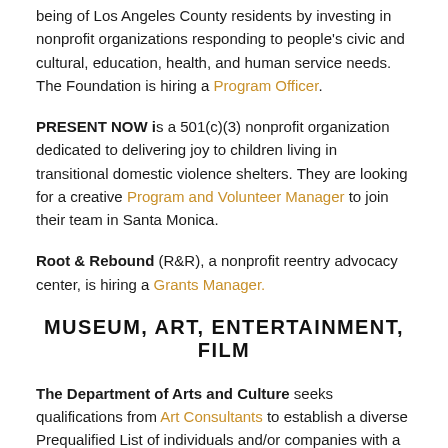being of Los Angeles County residents by investing in nonprofit organizations responding to people's civic and cultural, education, health, and human service needs. The Foundation is hiring a Program Officer.
PRESENT NOW is a 501(c)(3) nonprofit organization dedicated to delivering joy to children living in transitional domestic violence shelters. They are looking for a creative Program and Volunteer Manager to join their team in Santa Monica.
Root & Rebound (R&R), a nonprofit reentry advocacy center, is hiring a Grants Manager.
MUSEUM, ART, ENTERTAINMENT, FILM
The Department of Arts and Culture seeks qualifications from Art Consultants to establish a diverse Prequalified List of individuals and/or companies with a wide variety of experience to provide public art project management services on an as-